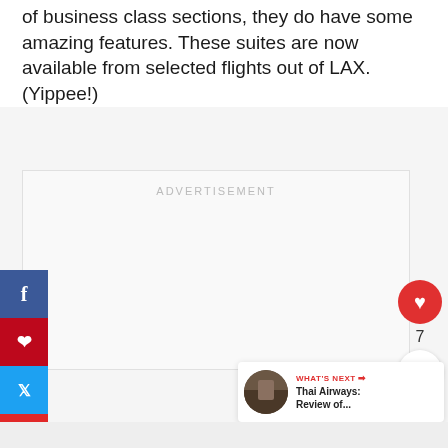of business class sections, they do have some amazing features. These suites are now available from selected flights out of LAX. (Yippee!)
[Figure (other): Advertisement placeholder box with 'ADVERTISEMENT' label in light gray text]
[Figure (infographic): Social share sidebar with Facebook (blue), Pinterest (red), Twitter (cyan), and Flipboard (red) buttons]
[Figure (infographic): Floating action buttons: heart/like button (red circle, count=7) and share button (white circle with share icon)]
[Figure (infographic): What's Next widget showing Thai Airways: Review of... with thumbnail image]